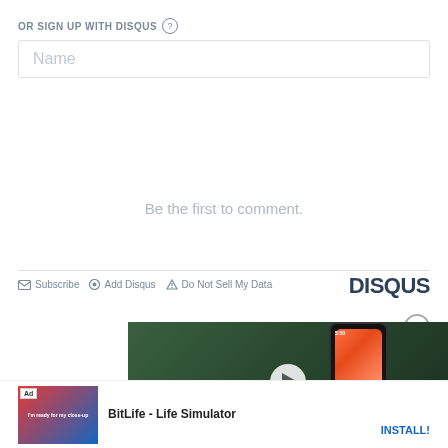OR SIGN UP WITH DISQUS ?
Name
Be the first to comment.
Subscribe  Add Disqus  Do Not Sell My Data
DISQUS
[Figure (screenshot): Video player overlay showing a smartphone with 'VILLAIN?' text on green background, with a play button in center]
BitLife - Life Simulator
INSTALL!